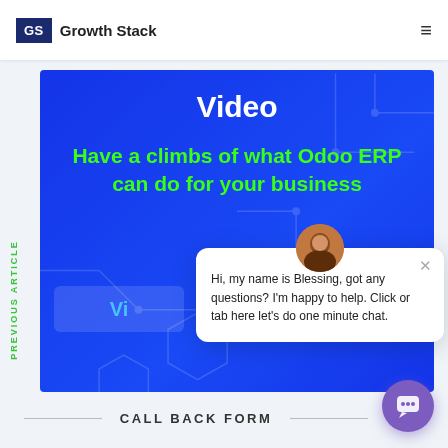[Figure (logo): Growth Stack logo with blue GS box and text]
[Figure (screenshot): Blue video banner with text 'Video' and 'Have a climbs of what Odoo ERP can do for your business' in green, with circuit pattern background]
PREVIOUS ARTICLE
[Figure (screenshot): Chat popup from Blessing: 'Hi, my name is Blessing, got any questions? I'm happy to help. Click or tab here let's do one minute chat.']
CALL BACK FORM
[Figure (other): Purple chat bubble button in bottom right]